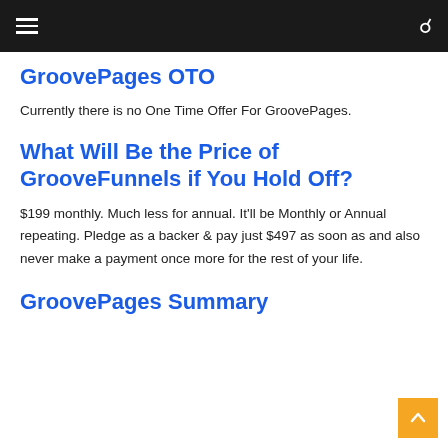☰  🔍
GroovePages OTO
Currently there is no One Time Offer For GroovePages.
What Will Be the Price of GrooveFunnels if You Hold Off?
$199 monthly. Much less for annual. It'll be Monthly or Annual repeating. Pledge as a backer & pay just $497 as soon as and also never make a payment once more for the rest of your life.
GroovePages Summary